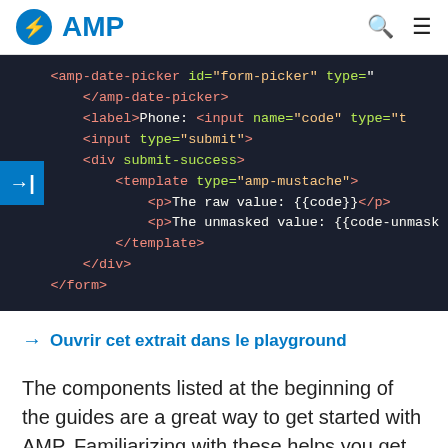AMP
[Figure (screenshot): Dark-themed code editor screenshot showing HTML AMP code with syntax highlighting. Code shows amp-date-picker, label, input, template, and div elements with colored tokens.]
→ Ouvrir cet extrait dans le playground
The components listed at the beginning of the guides are a great way to get started with AMP. Familiarizing with these helps you get an overview of the different building blocks AMP provides.